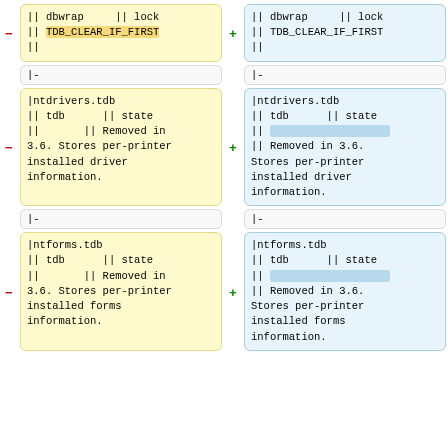|| dbwrap     || lock
|| TDB_CLEAR_IF_FIRST
||
|| dbwrap     || lock
|| TDB_CLEAR_IF_FIRST
||
|-
|-
|ntdrivers.tdb
|| tdb      || state
||       || Removed in
3.6. Stores per-printer
installed driver
information.
|ntdrivers.tdb
|| tdb      || state
|| [highlight]
|| Removed in 3.6.
Stores per-printer
installed driver
information.
|-
|-
|ntforms.tdb
|| tdb      || state
||       || Removed in
3.6. Stores per-printer
installed forms
information.
|ntforms.tdb
|| tdb      || state
|| [highlight]
|| Removed in 3.6.
Stores per-printer
installed forms
information.